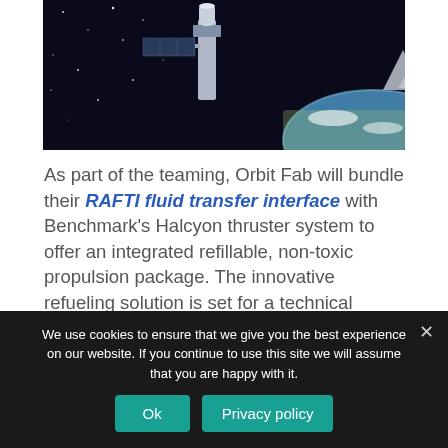[Figure (photo): A satellite or spacecraft component in orbit above Earth, with stars visible in the background and Earth's surface/atmosphere visible below.]
As part of the teaming, Orbit Fab will bundle their RAFTI fluid transfer interface with Benchmark's Halcyon thruster system to offer an integrated refillable, non-toxic propulsion package. The innovative refueling solution is set for a technical demonstration at the SpaceX launch pad and in space aboard Orbit Fab's first operational fuel depot to be lifted into orbit on a Falcon 9 later this year.
We use cookies to ensure that we give you the best experience on our website. If you continue to use this site we will assume that you are happy with it.